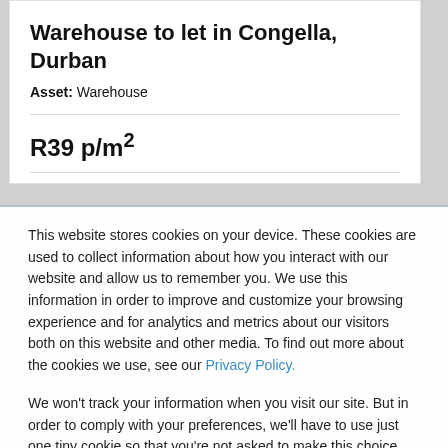Warehouse to let in Congella, Durban
Asset: Warehouse
R39 p/m²
This website stores cookies on your device. These cookies are used to collect information about how you interact with our website and allow us to remember you. We use this information in order to improve and customize your browsing experience and for analytics and metrics about our visitors both on this website and other media. To find out more about the cookies we use, see our Privacy Policy.
We won't track your information when you visit our site. But in order to comply with your preferences, we'll have to use just one tiny cookie so that you're not asked to make this choice again.
Accept
Decline